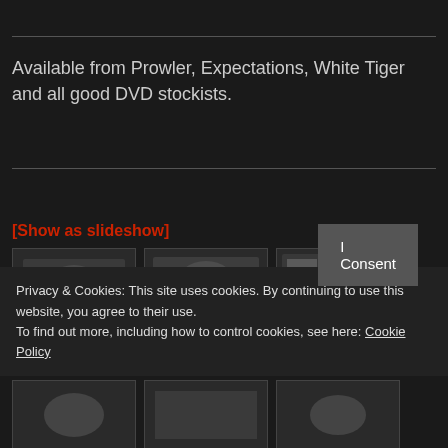Available from Prowler, Expectations, White Tiger and all good DVD stockists.
[Show as slideshow]
[Figure (photo): Three thumbnail images in a row showing partial faces/content]
Privacy & Cookies: This site uses cookies. By continuing to use this website, you agree to their use.
To find out more, including how to control cookies, see here: Cookie Policy
I Consent
[Figure (photo): Three thumbnail images in bottom row, partially visible]